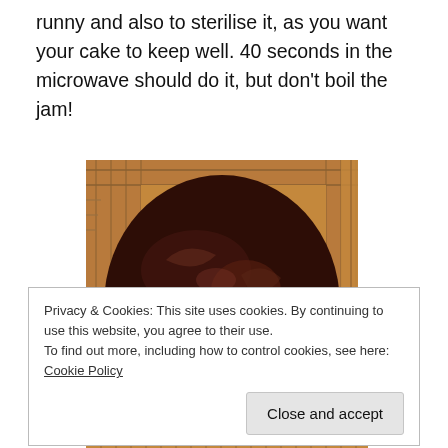runny and also to sterilise it, as you want your cake to keep well. 40 seconds in the microwave should do it, but don't boil the jam!
[Figure (photo): A chocolate-glazed round cake layer cooling on a wire rack, viewed from above. The cake is densely covered with shiny dark chocolate ganache or glaze. The wire cooling rack and a wooden surface are visible underneath.]
Privacy & Cookies: This site uses cookies. By continuing to use this website, you agree to their use.
To find out more, including how to control cookies, see here: Cookie Policy